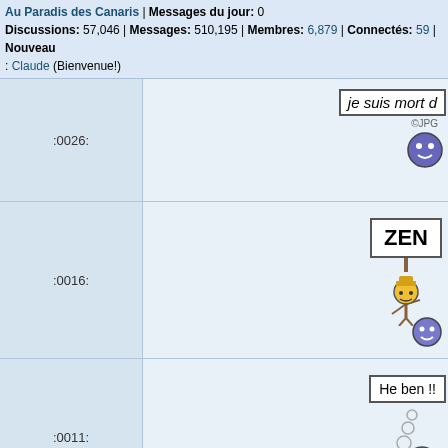Au Paradis des Canaris | Messages du jour: 0
Discussions: 57,046 | Messages: 510,195 | Membres: 6,879 | Connectés: 59 | Nouveau: Claude (Bienvenue!)
| Code | Image |
| --- | --- |
| :0026: | je suis mort d... ©JPG [smiley image] |
| :0016: | ZEN [sign with smileys] |
| :0011: | He ben !! [bubbles with smileys] |
| :0004: | Nous faisons le... Mais nous le fa... bien [bird and devil smileys] |
| :_lapin_: | m stupid [bird with sign, arrow up, smiley] |
| :redface: | [arrow down, smiley] |
| :frown: | [frown smiley] |
| :ellou: | ... |